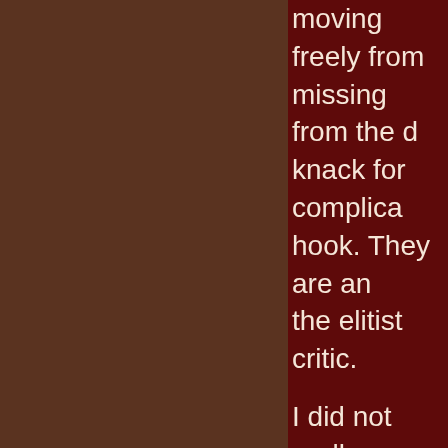moving freely from missing from the d knack for complica hook. They are an the elitist critic.

I did not really exp performance) but t record a band and lean over and set t

So, I was the soun ORTF stereo confi sound of the guitar obtained a stereo f These were recor these four channel